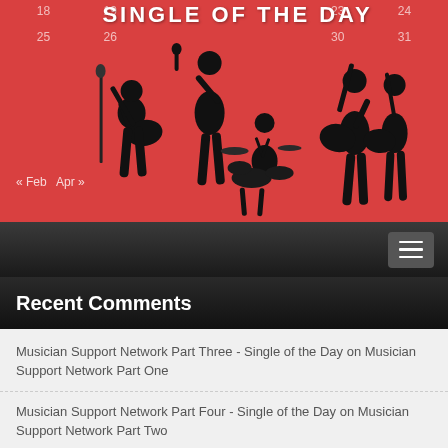[Figure (illustration): Single of the Day website header banner with red background showing band silhouettes (guitarist, singer, drummer, bassist) and calendar numbers. Title text 'SINGLE OF THE DAY' displayed prominently. Navigation links '« Feb' and 'Apr »' visible.]
≡ (hamburger menu button)
Recent Comments
Musician Support Network Part Three - Single of the Day on Musician Support Network Part One
Musician Support Network Part Four - Single of the Day on Musician Support Network Part Two
Power Of Melody In Sports - Single of the Day on Musician Support Network Part One
Ghost of A Chane on Standing 8